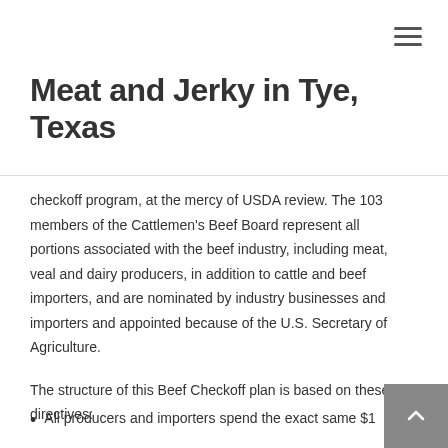Meat and Jerky in Tye, Texas
checkoff program, at the mercy of USDA review. The 103 members of the Cattlemen's Beef Board represent all portions associated with the beef industry, including meat, veal and dairy producers, in addition to cattle and beef importers, and are nominated by industry businesses and importers and appointed because of the U.S. Secretary of Agriculture.
The structure of this Beef Checkoff plan is based on these directives:
All producers and importers spend the exact same $1